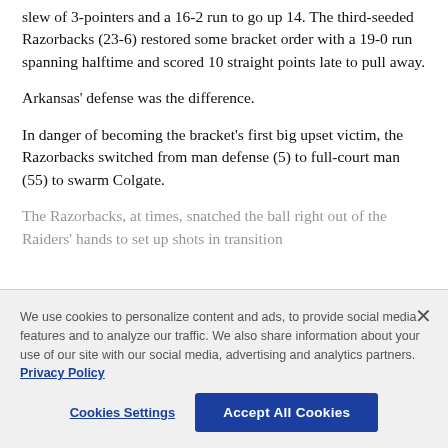slew of 3-pointers and a 16-2 run to go up 14. The third-seeded Razorbacks (23-6) restored some bracket order with a 19-0 run spanning halftime and scored 10 straight points late to pull away.
Arkansas' defense was the difference.
In danger of becoming the bracket's first big upset victim, the Razorbacks switched from man defense (5) to full-court man (55) to swarm Colgate.
The Razorbacks, at times, snatched the ball right out of the Raiders' hands to set up shots in transition
We use cookies to personalize content and ads, to provide social media features and to analyze our traffic. We also share information about your use of our site with our social media, advertising and analytics partners. Privacy Policy